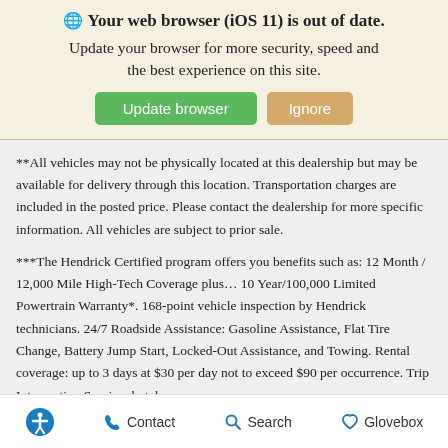🌐 Your web browser (iOS 11) is out of date. Update your browser for more security, speed and the best experience on this site.
**All vehicles may not be physically located at this dealership but may be available for delivery through this location. Transportation charges are included in the posted price. Please contact the dealership for more specific information. All vehicles are subject to prior sale.
***The Hendrick Certified program offers you benefits such as: 12 Month / 12,000 Mile High-Tech Coverage plus… 10 Year/100,000 Limited Powertrain Warranty*. 168-point vehicle inspection by Hendrick technicians. 24/7 Roadside Assistance: Gasoline Assistance, Flat Tire Change, Battery Jump Start, Locked-Out Assistance, and Towing. Rental coverage: up to 3 days at $30 per day not to exceed $90 per occurrence. Trip Interruption Service: hotel,
Accessibility  Contact  Search  Glovebox